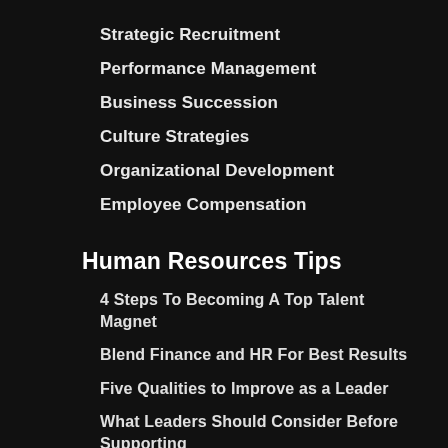Strategic Recruitment
Performance Management
Business Succession
Culture Strategies
Organizational Development
Employee Compensation
Human Resources Tips
4 Steps To Becoming A Top Talent Magnet
Blend Finance and HR For Best Results
Five Qualities to Improve as a Leader
What Leaders Should Consider Before Supporting ‘Work-Life Integration’